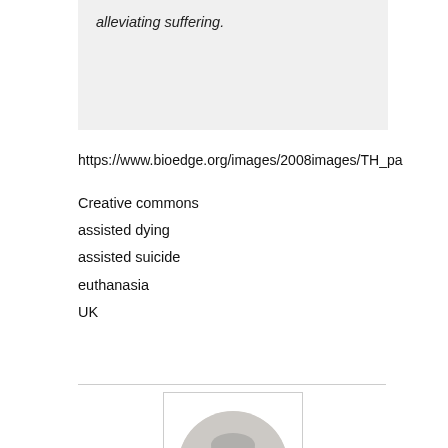alleviating suffering.
https://www.bioedge.org/images/2008images/TH_pa
Creative commons
assisted dying
assisted suicide
euthanasia
UK
[Figure (photo): Portrait photo of Michael Cook, an older man with grey hair, shown in a circular crop.]
Michael Cook
Michael Cook edits BioEdge, a